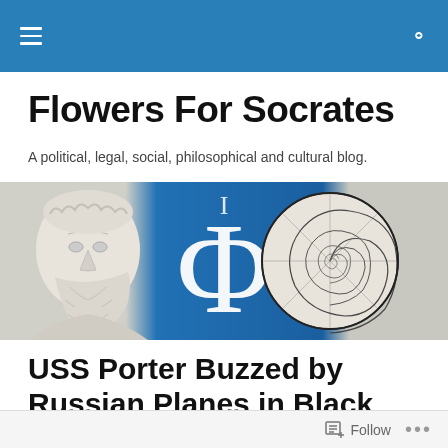Navigation bar with hamburger menu and search icon
Flowers For Socrates
A political, legal, social, philosophical and cultural blog.
[Figure (illustration): Blog banner image with a classical marble bust of Socrates on the left, a large Greek phi symbol (Φ) on a blue gradient background in the center, and a nautilus shell illustration on the right.]
USS Porter Buzzed by Russian Planes in Black Sea
Posted by Terry Welshans
Follow  •••